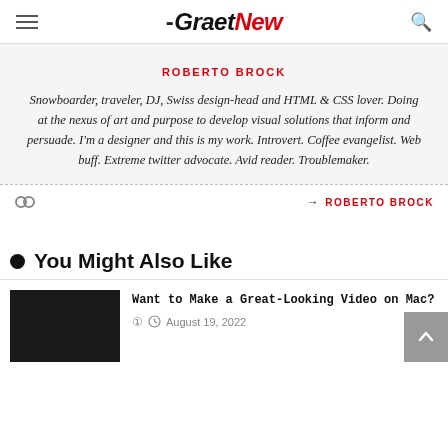GraetNew
ROBERTO BROCK
Snowboarder, traveler, DJ, Swiss design-head and HTML & CSS lover. Doing at the nexus of art and purpose to develop visual solutions that inform and persuade. I'm a designer and this is my work. Introvert. Coffee evangelist. Web buff. Extreme twitter advocate. Avid reader. Troublemaker.
→ ROBERTO BROCK
You Might Also Like
Want to Make a Great-Looking Video on Mac?
August 19, 2022